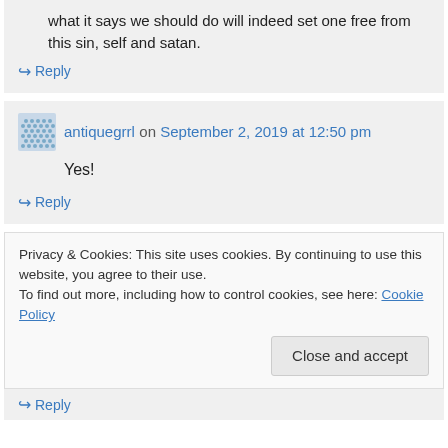what it says we should do will indeed set one free from this sin, self and satan.
↪ Reply
antiquegrrl on September 2, 2019 at 12:50 pm
Yes!
↪ Reply
Privacy & Cookies: This site uses cookies. By continuing to use this website, you agree to their use.
To find out more, including how to control cookies, see here: Cookie Policy
Close and accept
↪ Reply